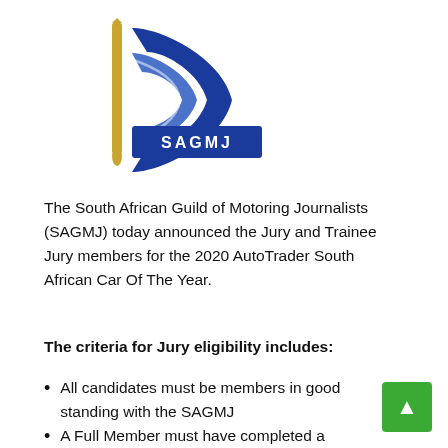[Figure (logo): SAGMJ logo — South African Guild of Motoring Journalists. Features a blue stylized double-chevron/arrow shape with a gold pen/quill element, and a blue rectangular banner reading 'SAGMJ' in white letters.]
The South African Guild of Motoring Journalists (SAGMJ) today announced the Jury and Trainee Jury members for the 2020 AutoTrader South African Car Of The Year.
The criteria for Jury eligibility includes:
All candidates must be members in good standing with the SAGMJ
A Full Member must have completed a